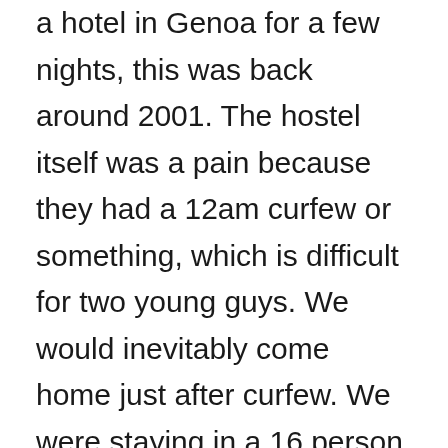a hotel in Genoa for a few nights, this was back around 2001. The hostel itself was a pain because they had a 12am curfew or something, which is difficult for two young guys. We would inevitably come home just after curfew. We were staying in a 16 person room. When we got back the 2nd night the room was packed. In the morning, like 5am, so like 4 hours after going to bed, the room was filled with dudes doing